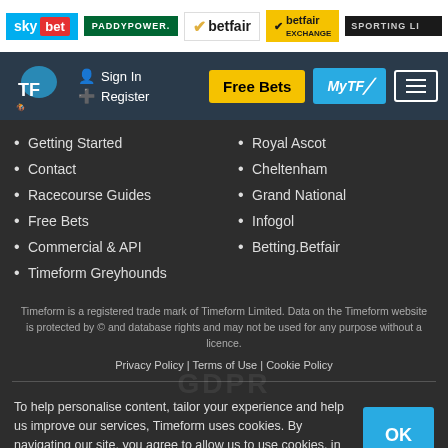[Figure (logo): Sponsor logos bar: Sky Bet, Paddy Power, Betfair, Betfair Exchange, Sporting Life]
[Figure (screenshot): Navigation bar with Timeform horse racing logo, Sign In and Register links, Free Bets button, MyTF button, menu button]
Getting Started
Contact
Racecourse Guides
Free Bets
Commercial & API
Timeform Greyhounds
Royal Ascot
Cheltenham
Grand National
Infogol
Betting.Betfair
Timeform is a registered trade mark of Timeform Limited. Data on the Timeform website is protected by © and database rights and may not be used for any purpose without a licence.
Privacy Policy | Terms of Use | Cookie Policy
To help personalise content, tailor your experience and help us improve our services, Timeform uses cookies. By navigating our site, you agree to allow us to use cookies, in accordance with our Cookie Policy and Privacy Policy.